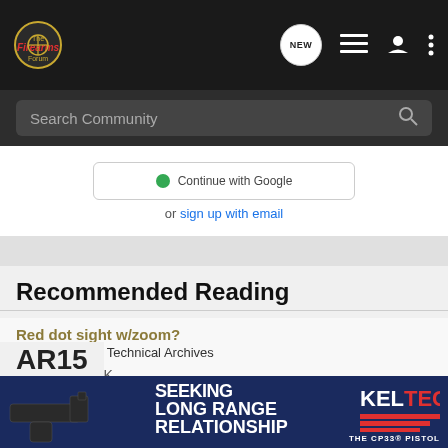The Firearms Forum
Search Community
Continue with Google · or sign up with email
Recommended Reading
Red dot sight w/zoom?
Informational & Technical Archives
0 replies · 3K views
ruffitt · updated Feb 24, 2003
[Figure (photo): Kel-Tec CP33 pistol advertisement: SEEKING LONG RANGE RELATIONSHIP – THE CP33 PISTOL]
AR15